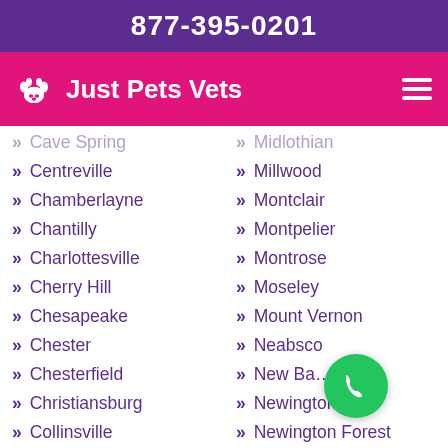877-395-0201
Just Pets Vets
Cave Spring
Midlothian
Centreville
Millwood
Chamberlayne
Montclair
Chantilly
Montpelier
Charlottesville
Montrose
Cherry Hill
Moseley
Chesapeake
Mount Vernon
Chester
Neabsco
Chesterfield
New Ba...
Christiansburg
Newington
Collinsville
Newington Forest
Colonial Heights
Newport News
Countryside
Norfolk